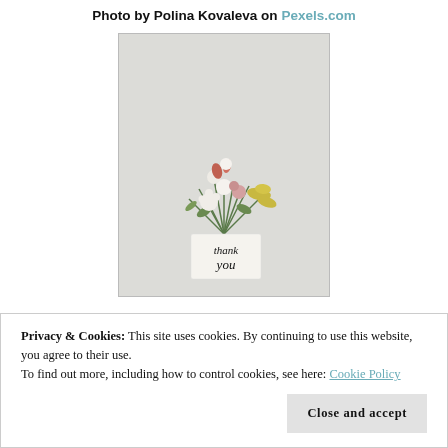Photo by Polina Kovaleva on Pexels.com
[Figure (photo): A photo of a bouquet of flowers in a white 'thank you' vase against a light gray background. The bouquet contains white, pink, and yellow-green flowers with green foliage. The vase has 'thank you' written on it in italic script.]
Privacy & Cookies: This site uses cookies. By continuing to use this website, you agree to their use.
To find out more, including how to control cookies, see here: Cookie Policy
Close and accept